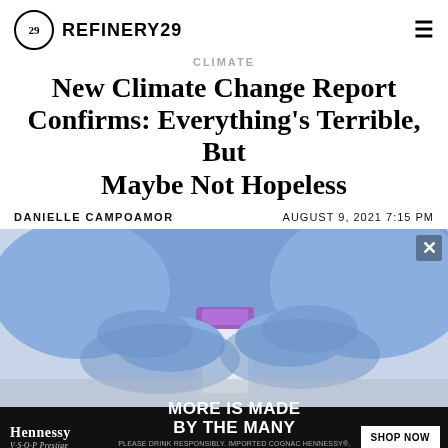REFINERY29
CLIMATE
New Climate Change Report Confirms: Everything's Terrible, But Maybe Not Hopeless
DANIELLE CAMPOAMOR   AUGUST 9, 2021 7:15 PM
[Figure (photo): Close-up of blue-gloved hands handling a small vial with a purple cap, likely a vaccine vial, against a light grey background.]
[Figure (other): Advertisement banner for Hennessy V.S.O.P Privilege. Text: MORE IS MADE BY THE MANY. SHOP NOW button. Fine print: PLEASE DRINK RESPONSIBLY. IMPORTED COGNAC HENNESSY®, 40% ALC./VOL. (80°). ©2021 IMPORTED BY MOET HENNESSY USA, INC., NEW YORK, NY. HENNESSY IS A REGISTERED TRADEMARK.]